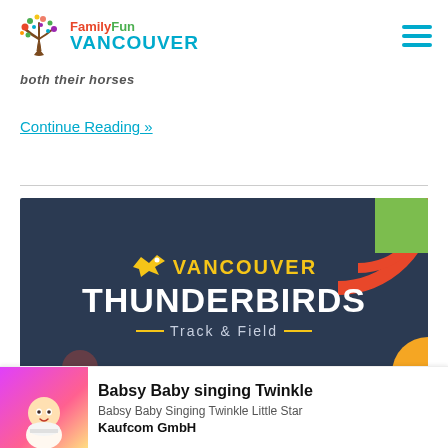FamilyFun Vancouver
both their horses
Continue Reading »
[Figure (illustration): Vancouver Thunderbirds Track & Field banner image with dark navy background, yellow thunderbird logo, yellow 'VANCOUVER' text, white 'THUNDERBIRDS' text, and 'Track & Field' subtitle with decorative circles in top-right corner]
[Figure (screenshot): Babsy Baby singing Twinkle app advertisement overlay with cartoon baby character on pink/purple background, showing title 'Babsy Baby singing Twinkle', subtitle 'Babsy Baby Singing Twinkle Little Star', developer 'Kaufcom GmbH']